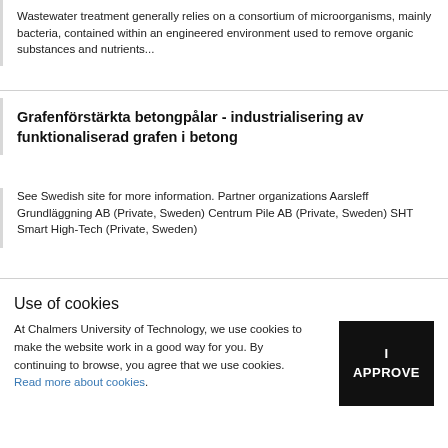Wastewater treatment generally relies on a consortium of microorganisms, mainly bacteria, contained within an engineered environment used to remove organic substances and nutrients...
Grafenförstärkta betongpålar - industrialisering av funktionaliserad grafen i betong
See Swedish site for more information. Partner organizations Aarsleff Grundläggning AB (Private, Sweden) Centrum Pile AB (Private, Sweden) SHT Smart High-Tech (Private, Sweden)
Use of cookies
At Chalmers University of Technology, we use cookies to make the website work in a good way for you. By continuing to browse, you agree that we use cookies. Read more about cookies.